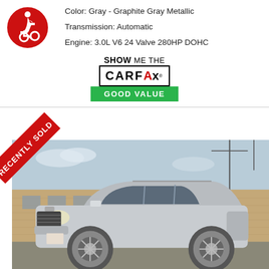Color: Gray - Graphite Gray Metallic
Transmission: Automatic
Engine: 3.0L V6 24 Valve 280HP DOHC
[Figure (logo): SHOW ME THE CARFAX - GOOD VALUE badge]
[Figure (photo): Silver Cadillac SRX SUV parked in a lot in front of a brick building, with a red RECENTLY SOLD diagonal banner in the top left corner]